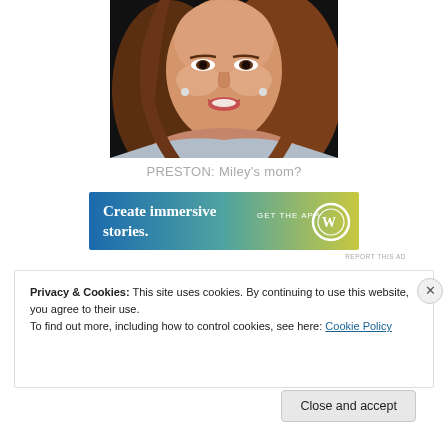[Figure (photo): Photo of a woman with long brown hair, smiling, wearing a light-colored off-shoulder dress, against a dark background. Cropped to show face and upper torso.]
PRESTON: Miley's mom?
[Figure (screenshot): Advertisement banner with gradient background from blue to green/yellow. Text reads 'Create immersive stories.' on the left, 'GET THE APP' with WordPress logo on the right.]
REPORT THIS AD
Privacy & Cookies: This site uses cookies. By continuing to use this website, you agree to their use.
To find out more, including how to control cookies, see here: Cookie Policy
Close and accept